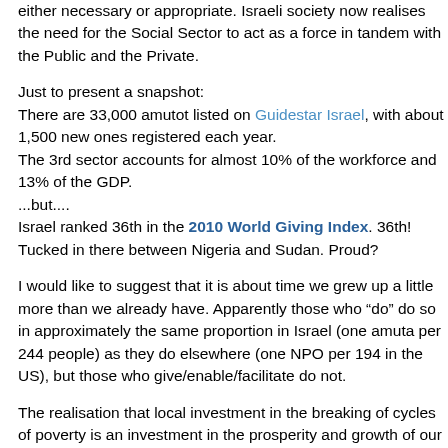either necessary or appropriate. Israeli society now realises the need for the Social Sector to act as a force in tandem with the Public and the Private.
Just to present a snapshot:
There are 33,000 amutot listed on Guidestar Israel, with about 1,500 new ones registered each year.
The 3rd sector accounts for almost 10% of the workforce and 13% of the GDP.
...but....
Israel ranked 36th in the 2010 World Giving Index. 36th! Tucked in there between Nigeria and Sudan. Proud?
I would like to suggest that it is about time we grew up a little more than we already have. Apparently those who “do” do so in approximately the same proportion in Israel (one amuta per 244 people) as they do elsewhere (one NPO per 194 in the US), but those who give/enable/facilitate do not.
The realisation that local investment in the breaking of cycles of poverty is an investment in the prosperity and growth of our own wealth and stability is one with which we, as a